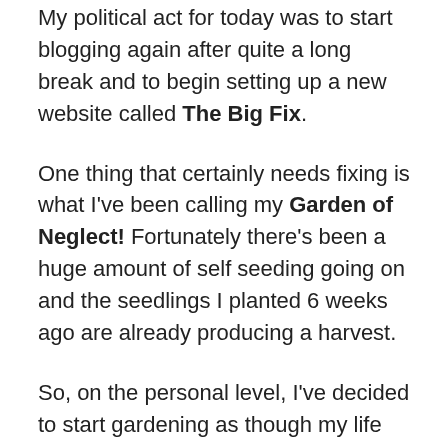My political act for today was to start blogging again after quite a long break and to begin setting up a new website called The Big Fix.
One thing that certainly needs fixing is what I've been calling my Garden of Neglect! Fortunately there's been a huge amount of self seeding going on and the seedlings I planted 6 weeks ago are already producing a harvest.
So, on the personal level, I've decided to start gardening as though my life depended on it. I've decided to challenge myself to eat something from the garden every single day. Of course, bad time of year to start this given that we're going away for two weeks from tomorrow. So today I've been preparing food from the garden to see if I can gather enough